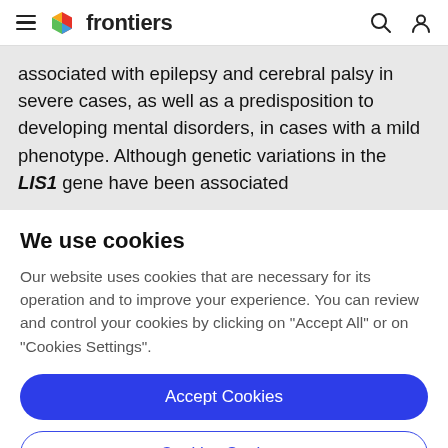frontiers
associated with epilepsy and cerebral palsy in severe cases, as well as a predisposition to developing mental disorders, in cases with a mild phenotype. Although genetic variations in the LIS1 gene have been associated
We use cookies
Our website uses cookies that are necessary for its operation and to improve your experience. You can review and control your cookies by clicking on "Accept All" or on "Cookies Settings".
Accept Cookies
Cookies Settings